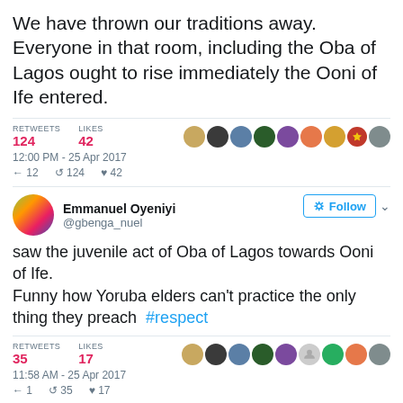We have thrown our traditions away. Everyone in that room, including the Oba of Lagos ought to rise immediately the Ooni of Ife entered.
RETWEETS 124  LIKES 42  12:00 PM - 25 Apr 2017  12 124 42
Emmanuel Oyeniyi @gbenga_nuel
saw the juvenile act of Oba of Lagos towards Ooni of Ife.
Funny how Yoruba elders can't practice the only thing they preach #respect
RETWEETS 35  LIKES 17  11:58 AM - 25 Apr 2017  1 35 17
Mr. Right!!!